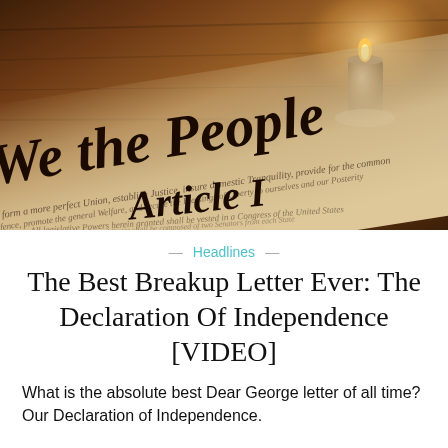[Figure (photo): Close-up photograph of the US Constitution parchment showing 'We the People' and 'Article I' in calligraphic script, with a candle in the background on a wooden surface]
— Headlines —
The Best Breakup Letter Ever: The Declaration Of Independence [VIDEO]
What is the absolute best Dear George letter of all time? Our Declaration of Independence.